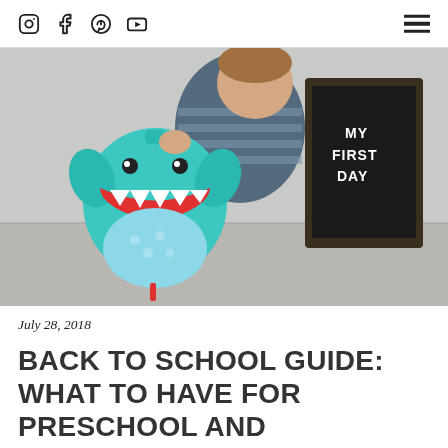Social icons: Instagram, Facebook, Pinterest, YouTube; Hamburger menu
[Figure (photo): A young toddler boy in a striped long-sleeve shirt bending down to pick up a teal shark-shaped backpack. Behind him leans a black letterboard sign partially reading 'MY FIRST DAY'. The setting is a concrete floor against a light grey wall.]
July 28, 2018
BACK TO SCHOOL GUIDE: WHAT TO HAVE FOR PRESCHOOL AND ELEMENTARY SCHOOL …